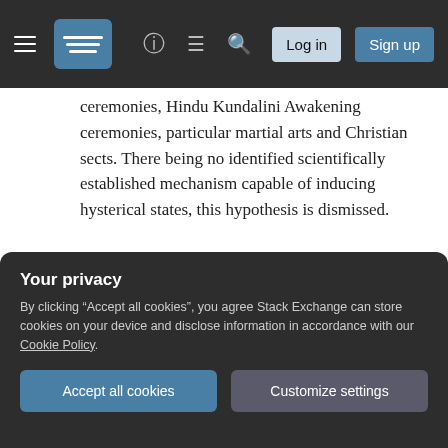Stack Exchange navigation bar with hamburger menu, logo, help, chat, search icons, Log in and Sign up buttons
ceremonies, Hindu Kundalini Awakening ceremonies, particular martial arts and Christian sects. There being no identified scientifically established mechanism capable of inducing hysterical states, this hypothesis is dismissed.
3. Hysterical state induced by the individual: No established mechanism by which an individual may self-induce a hysterical state was identified, therefore, this hypothesis is dismissed.
Your privacy
By clicking "Accept all cookies", you agree Stack Exchange can store cookies on your device and disclose information in accordance with our Cookie Policy.
Accept all cookies  Customize settings
them from the group(Burger, 2019; Milgram &